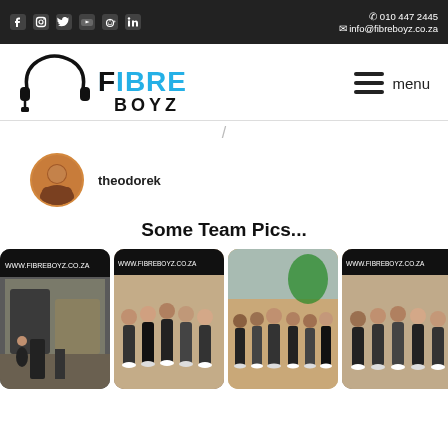010 447 2445 | info@fibreboyz.co.za
[Figure (logo): Fibre Boyz logo with headphone graphic and blue/black text]
menu
/
[Figure (photo): Round avatar photo of theodorek]
theodorek
Some Team Pics...
[Figure (photo): Team photo 1: booth with www.fibreboyz.co.za banner, person standing]
[Figure (photo): Team photo 2: group of people standing in front of www.fibreboyz.co.za banner]
[Figure (photo): Team photo 3: group of people standing outdoors]
[Figure (photo): Team photo 4: group of people in front of www.fibreboyz.co.za banner]